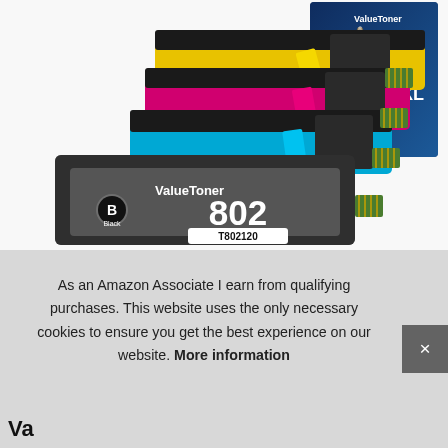[Figure (photo): Product photo of ValueToner 802/802XL 4-Pack remanufactured ink cartridges (black, cyan, magenta, yellow) with packaging box visible in the upper right showing 'Compatible with: 802/802XL 4 Pack'. The black cartridge in front shows 'ValueToner', 'B Black', '802', 'T802120', 'REMANUFACTURED INK CARTRIDGE' labels.]
As an Amazon Associate I earn from qualifying purchases. This website uses the only necessary cookies to ensure you get the best experience on our website. More information
Va